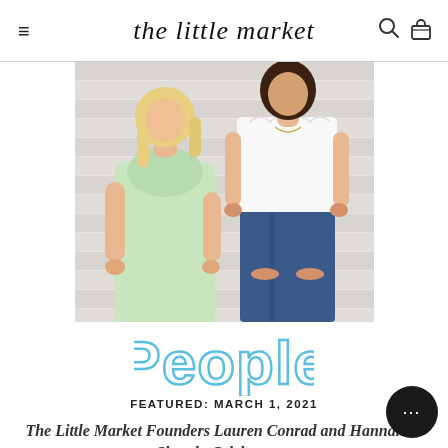the little market
[Figure (photo): Two women standing side by side against a white shiplap wall. Left woman wears a light green floral dress; right woman wears a white sleeveless top and blue denim jeans.]
[Figure (logo): People magazine logo in light blue outline block letters.]
FEATURED: MARCH 1, 2021
The Little Market Founders Lauren Conrad and Hannah Skvarla Celebrate